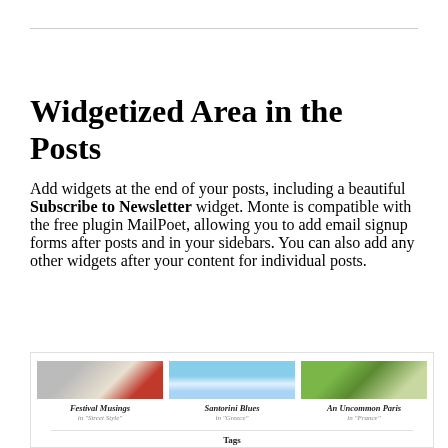Widgetized Area in the Posts
Add widgets at the end of your posts, including a beautiful Subscribe to Newsletter widget. Monte is compatible with the free plugin MailPoet, allowing you to add email signup forms after posts and in your sidebars. You can also add any other widgets after your content for individual posts.
[Figure (screenshot): Related posts widget showing three article thumbnails: Festival Musings (in Street Style), Santorini Blues (in Greece), An Uncommon Paris (in France), followed by a Tags section with links: fashion week, paris, street]
Festival Musings — in "Street Style"
Santorini Blues — in "Greece"
An Uncommon Paris — in "France"
Tags
fashion week   paris   street